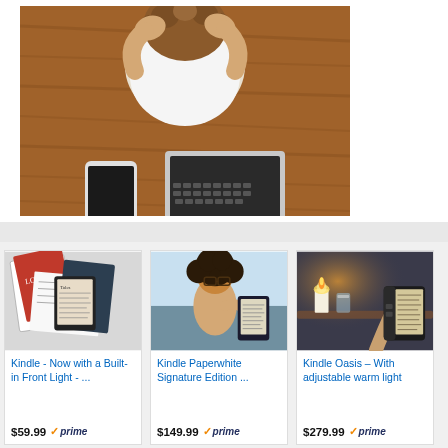[Figure (photo): Overhead view of a stressed woman with hands on head, sitting at a wooden table with a laptop and smartphone]
[Figure (photo): Product image of Kindle - Now with a Built-in Front Light, showing scattered book covers and pages]
Kindle - Now with a Built-in Front Light - ...
$59.99 prime
[Figure (photo): Product image of Kindle Paperwhite Signature Edition, showing a woman reading the device]
Kindle Paperwhite Signature Edition ...
$149.99 prime
[Figure (photo): Product image of Kindle Oasis with adjustable warm light, showing device held in a bath setting with candles]
Kindle Oasis – With adjustable warm light
$279.99 prime